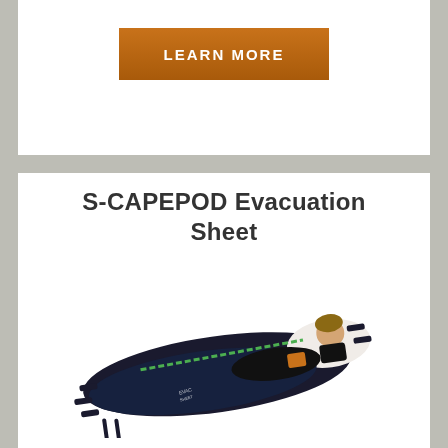[Figure (other): Orange 'LEARN MORE' button on white background card]
S-CAPEPOD Evacuation Sheet
[Figure (photo): Photo of S-CAPEPOD evacuation sheet with a person lying on it, showing a dark navy/black evacuation sheet with straps and a green zipper, used for medical evacuation]